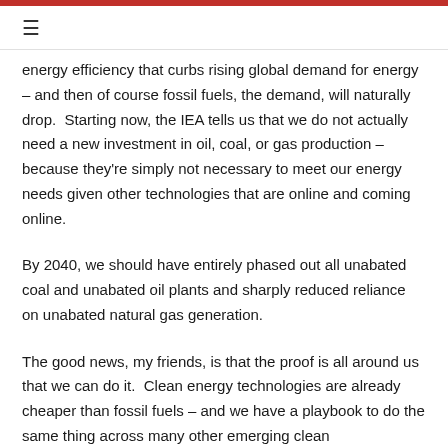≡
energy efficiency that curbs rising global demand for energy – and then of course fossil fuels, the demand, will naturally drop.  Starting now, the IEA tells us that we do not actually need a new investment in oil, coal, or gas production – because they're simply not necessary to meet our energy needs given other technologies that are online and coming online.
By 2040, we should have entirely phased out all unabated coal and unabated oil plants and sharply reduced reliance on unabated natural gas generation.
The good news, my friends, is that the proof is all around us that we can do it.  Clean energy technologies are already cheaper than fossil fuels – and we have a playbook to do the same thing across many other emerging clean